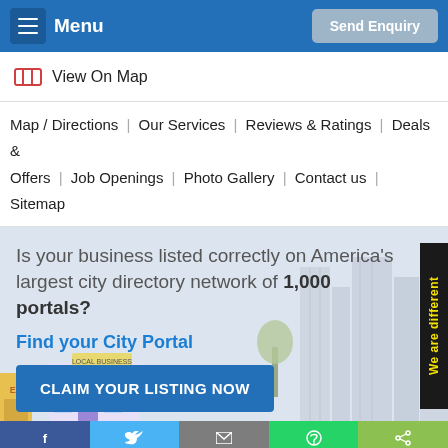Menu | Send Enquiry
View On Map
Map / Directions | Our Services | Reviews & Ratings | Deals & Offers | Job Openings | Photo Gallery | Contact us | Sitemap
Is your business listed correctly on America's largest city directory network of 1,000 portals?
Find your City Portal
CLAIM YOUR LISTING NOW
We are different
[Figure (illustration): Local business shop storefront illustration at bottom left of banner]
Facebook | Twitter | Email | WhatsApp | Share